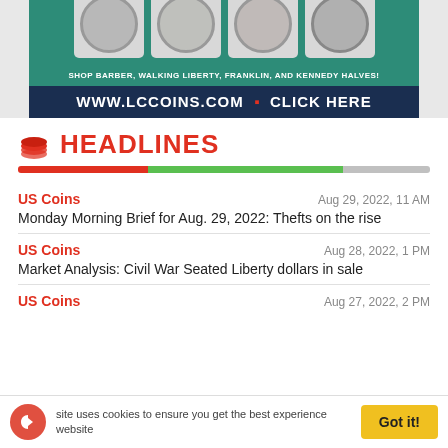[Figure (illustration): Advertisement banner for LCCoins.com showing four graded coins (Barber, Walking Liberty, Franklin, and Kennedy Halves) with text 'SHOP BARBER, WALKING LIBERTY, FRANKLIN, AND KENNEDY HALVES!' and 'WWW.LCCOINS.COM • CLICK HERE']
HEADLINES
US Coins | Aug 29, 2022, 11 AM | Monday Morning Brief for Aug. 29, 2022: Thefts on the rise
US Coins | Aug 28, 2022, 1 PM | Market Analysis: Civil War Seated Liberty dollars in sale
US Coins | Aug 27, 2022, 2 PM
This site uses cookies to ensure you get the best experience on our website